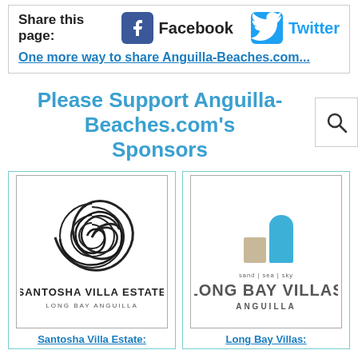Share this page:
Facebook
Twitter
One more way to share Anguilla-Beaches.com...
Please Support Anguilla-Beaches.com's Sponsors
[Figure (logo): Santosha Villa Estate, Long Bay Anguilla logo with spiral shell design]
Santosha Villa Estate:
[Figure (logo): Long Bay Villas Anguilla logo — sand | sea | sky with dome/arch building icon]
Long Bay Villas: